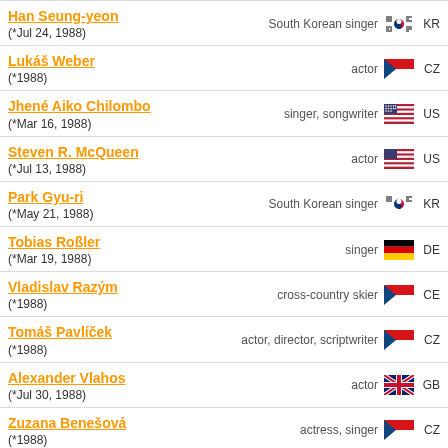Han Seung-yeon (*Jul 24, 1988) - South Korean singer - KR
Lukáš Weber (*1988) - actor - CZ
Jhené Aiko Chilombo (*Mar 16, 1988) - singer, songwriter - US
Steven R. McQueen (*Jul 13, 1988) - actor - US
Park Gyu-ri (*May 21, 1988) - South Korean singer - KR
Tobias Roßler (*Mar 19, 1988) - singer - DE
Vladislav Razým (*1988) - cross-country skier - CE
Tomáš Pavlíček (*1988) - actor, director, scriptwriter - CZ
Alexander Vlahos (*Jul 30, 1988) - actor - GB
Zuzana Benešová (*1988) - actress, singer - CZ